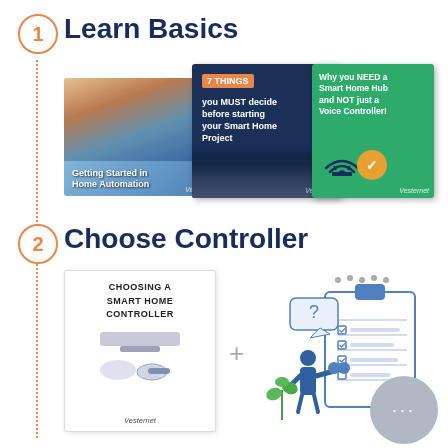1  Learn Basics
[Figure (illustration): Three overlapping book/guide covers about home automation: 'Getting Started in Home Automation', '7 THINGS you MUST decide before starting your Smart Home Project', and 'Why you NEED a Smart Home Hub and NOT just a Voice Controller!' from Vesternet]
2  Choose Controller
[Figure (illustration): A guide book 'Choosing a Smart Home Controller' from Vesternet plus a checklist/research illustration with a person looking through binoculars at a clipboard. A grey circle with ellipsis (…) in the bottom right corner.]